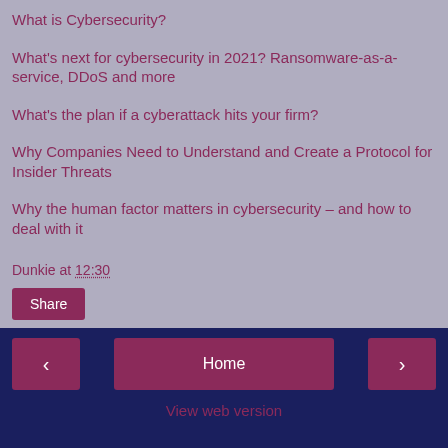What is Cybersecurity?
What's next for cybersecurity in 2021? Ransomware-as-a-service, DDoS and more
What's the plan if a cyberattack hits your firm?
Why Companies Need to Understand and Create a Protocol for Insider Threats
Why the human factor matters in cybersecurity – and how to deal with it
Dunkie at 12:30
Share
< Home > View web version